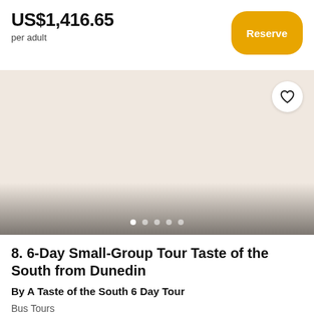US$1,416.65
per adult
Reserve
[Figure (photo): Beige/cream colored image placeholder with heart/wishlist button in top right corner and carousel dots overlay at bottom]
8. 6-Day Small-Group Tour Taste of the South from Dunedin
By A Taste of the South 6 Day Tour
Bus Tours
3+ days
Tickets and tours for small group tours from Viator. We work hard